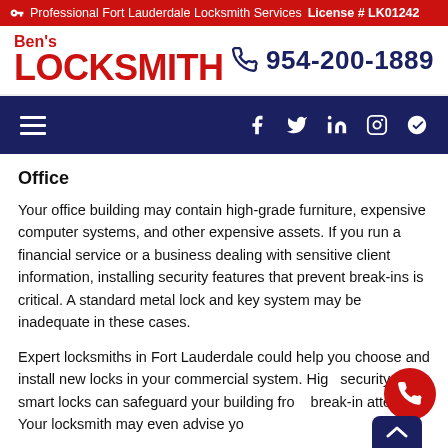Professional Fort Lauderdale Locksmith Services License # LK01242
Ben's LOCKSMITH
954-200-1889
Office
Your office building may contain high-grade furniture, expensive computer systems, and other expensive assets. If you run a financial service or a business dealing with sensitive client information, installing security features that prevent break-ins is critical. A standard metal lock and key system may be inadequate in these cases.
Expert locksmiths in Fort Lauderdale could help you choose and install new locks in your commercial system. High security smart locks can safeguard your building from break-in attempts. Your locksmith may even advise you